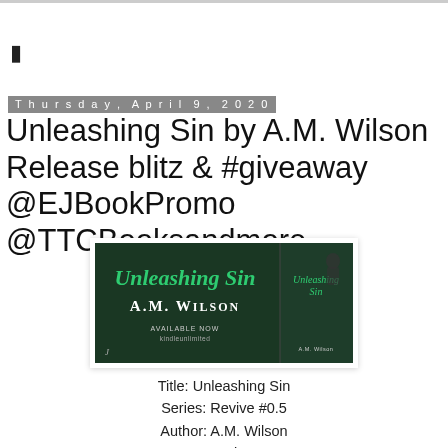▮
Thursday, April 9, 2020
Unleashing Sin by A.M. Wilson Release blitz & #giveaway @EJBookPromo @TTCBooksandmore
[Figure (illustration): Book cover banner for 'Unleashing Sin' by A.M. Wilson showing dark green background with cursive title text and author name, with 'AVAILABLE NOW kindleunlimited' text and a second smaller cover image of the same book with a man in the background.]
Title: Unleashing Sin
Series: Revive #0.5
Author: A.M. Wilson
Genre: Romantic Suspense
Release Date: April 9, 2020